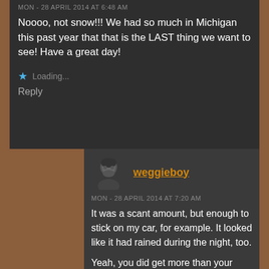MON - 28 APRIL 2014 AT 6:48 AM
Noooo, not snow!!! We had so much in Michigan this past year that that is the LAST thing we want to see! Have a great day!
Loading...
Reply
weggieboy
MON - 28 APRIL 2014 AT 7:20 AM
It was a scant amount, but enough to stick on my car, for example. It looked like it had rained during the night, too.
Yeah, you did get more than your share of Winter this year, didn't you?